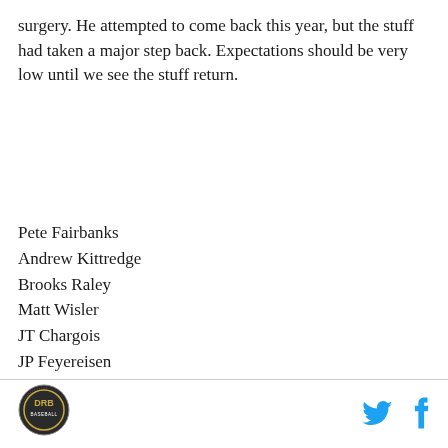surgery. He attempted to come back this year, but the stuff had taken a major step back. Expectations should be very low until we see the stuff return.
Pete Fairbanks
Andrew Kittredge
Brooks Raley
Matt Wisler
JT Chargois
JP Feyereisen
Ryan Thompson
Nick Anderson
Jeffrey Springs
Jalen Beeks
[Figure (logo): DRB circular logo with text around the edge]
[Figure (logo): Twitter bird icon in cyan blue]
[Figure (logo): Facebook f icon in cyan blue]